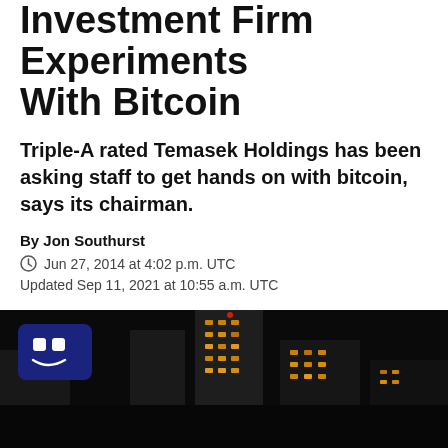Investment Firm Experiments With Bitcoin
Triple-A rated Temasek Holdings has been asking staff to get hands on with bitcoin, says its chairman.
By Jon Southurst
Jun 27, 2014 at 4:02 p.m. UTC
Updated Sep 11, 2021 at 10:55 a.m. UTC
[Figure (other): Social sharing icons: Facebook, LinkedIn, Twitter, Email]
[Figure (photo): Night photo of illuminated buildings against dark sky, with a blue robot/bot mascot badge in the top left corner]